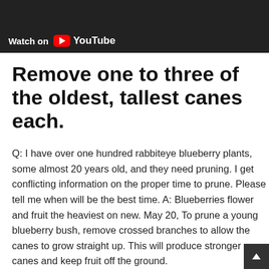[Figure (screenshot): YouTube video thumbnail banner with 'Watch on YouTube' text and play button, dark background with partial image of plants/garden]
Remove one to three of the oldest, tallest canes each.
Q: I have over one hundred rabbiteye blueberry plants, some almost 20 years old, and they need pruning. I get conflicting information on the proper time to prune. Please tell me when will be the best time. A: Blueberries flower and fruit the heaviest on new. May 20, To prune a young blueberry bush, remove crossed branches to allow the canes to grow straight up. This will produce stronger canes and keep fruit off the ground.
Also during the first 2 years, cut away any buds, as the bush needs to focus on growing, not producing%(75). May 04,